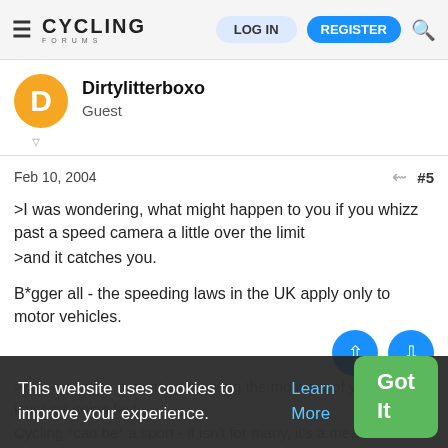Cycling Forums — LOG IN | REGISTER
Dirtylitterboxo
Guest
Feb 10, 2004  #5
>I was wondering, what might happen to you if you whizz past a speed camera a little over the limit
>and it catches you.

B*gger all - the speeding laws in the UK apply only to motor vehicles.
>but, cycling is a sport and getting the most out of yourself involves going fast.

Cycling *can be* a sport - it isn't for many, it's a means of getting from A to
This website uses cookies to improve your experience. Learn More